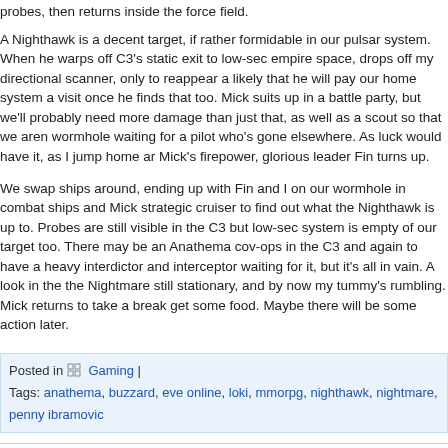probes, then returns inside the force field.
A Nighthawk is a decent target, if rather formidable in our pulsar system. When he warps off C3's static exit to low-sec empire space, drops off my directional scanner, only to reappear a likely that he will pay our home system a visit once he finds that too. Mick suits up in a battle party, but we'll probably need more damage than just that, as well as a scout so that we aren wormhole waiting for a pilot who's gone elsewhere. As luck would have it, as I jump home ar Mick's firepower, glorious leader Fin turns up.
We swap ships around, ending up with Fin and I on our wormhole in combat ships and Mick strategic cruiser to find out what the Nighthawk is up to. Probes are still visible in the C3 but low-sec system is empty of our target too. There may be an Anathema cov-ops in the C3 and again to have a heavy interdictor and interceptor waiting for it, but it's all in vain. A look in the the Nightmare still stationary, and by now my tummy's rumbling. Mick returns to take a break get some food. Maybe there will be some action later.
Posted in [grid] Gaming | Tags: anathema, buzzard, eve online, loki, mmorpg, nighthawk, nightmare, penny ibramovic
Sorry, comments for this entry are closed.